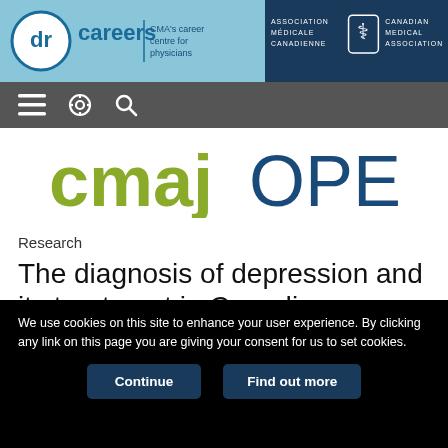[Figure (logo): dr careers CMA career centre for physicians header banner with Canadian Medical Association logo on dark blue background]
[Figure (screenshot): Navigation bar with hamburger menu, settings gear icon, and search icon on grey background]
[Figure (logo): cmajOPEN journal logo with cmaj in olive green and OPEN in dark blue]
Research
The diagnosis of depression and its treatment in Canadian primary
We use cookies on this site to enhance your user experience. By clicking any link on this page you are giving your consent for us to set cookies.
Continue | Find out more